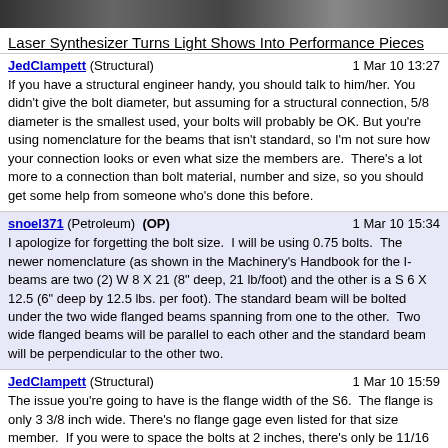[Figure (photo): Partial image at top of page, appears to be a dark/colorful photo cropped]
Laser Synthesizer Turns Light Shows Into Performance Pieces
JedClampett (Structural)   1 Mar 10 13:27
If you have a structural engineer handy, you should talk to him/her. You didn't give the bolt diameter, but assuming for a structural connection, 5/8 diameter is the smallest used, your bolts will probably be OK. But you're using nomenclature for the beams that isn't standard, so I'm not sure how your connection looks or even what size the members are.  There's a lot more to a connection than bolt material, number and size, so you should get some help from someone who's done this before.
snoel371 (Petroleum)  (OP)   1 Mar 10 15:34
I apologize for forgetting the bolt size.  I will be using 0.75 bolts.  The newer nomenclature (as shown in the Machinery's Handbook for the I-beams are two (2) W 8 X 21 (8" deep, 21 lb/foot) and the other is a S 6 X 12.5 (6" deep by 12.5 lbs. per foot). The standard beam will be bolted under the two wide flanged beams spanning from one to the other.  Two wide flanged beams will be parallel to each other and the standard beam will be perpendicular to the other two.
JedClampett (Structural)   1 Mar 10 15:59
The issue you're going to have is the flange width of the S6.  The flange is only 3 3/8 inch wide. There's no flange gage even listed for that size member.  If you were to space the bolts at 2 inches, there's only be 11/16 inch between the centerline of the bolt hole and the edge of the flange. This right to the edge is minimum and list...